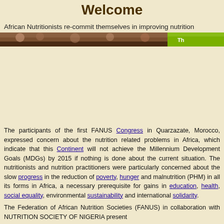Welcome
African Nutritionists re-commit themselves in improving nutrition
[Figure (photo): Banner image showing people on the left (brown/dark tones) and a green section on the right, with partial text visible]
The participants of the first FANUS Congress in Quarzazate, Morocco, expressed concern about the nutrition related problems in Africa, which indicate that this Continent will not achieve the Millennium Development Goals (MDGs) by 2015 if nothing is done about the current situation. The nutritionists and nutrition practitioners were particularly concerned about the slow progress in the reduction of poverty, hunger and malnutrition (PHM) in all its forms in Africa, a necessary prerequisite for gains in education, health, social equality, environmental sustainability and international solidarity.
The Federation of African Nutrition Societies (FANUS) in collaboration with NUTRITION SOCIETY OF NIGERIA present